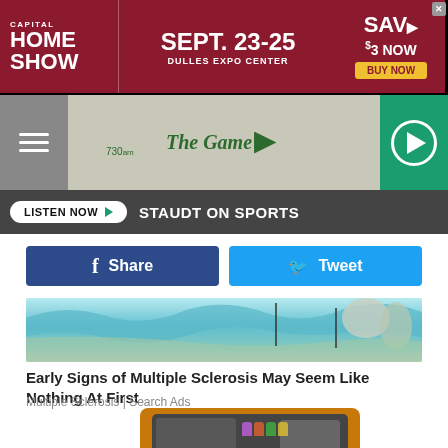[Figure (screenshot): Capital Home Show advertisement banner: SEPT. 23-25, Dulles Expo Center, Save $3 Now, Buy Now button]
[Figure (screenshot): Radio station navigation bar with hamburger menu, The Game 730am logo, and green play button]
[Figure (screenshot): Listen Now button with STAUDT ON SPORTS text on dark bar]
[Figure (screenshot): Facebook Share button and Twitter Tweet button]
[Figure (illustration): Colorful illustrated banner with aqua/teal landscape art]
Early Signs of Multiple Sclerosis May Seem Like Nothing At First
Multiple Sclerosis | Search Ads
[Figure (photo): Old-style orange laptop with stickers on screen including COW, FOLK, Grateful Dead dancing bears, and other stickers]